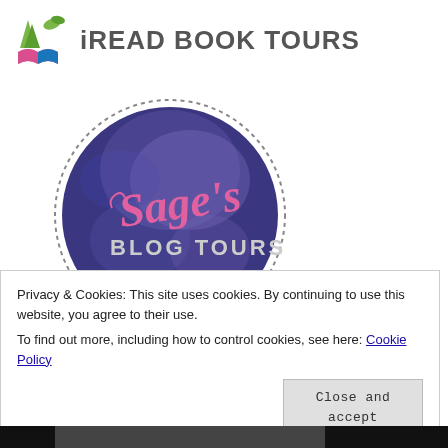[Figure (logo): iREAD BOOK TOURS logo with colorful open book icon and grey text]
[Figure (logo): Sage's Blog Tours circular badge with moon background, pink script text]
[Figure (other): Yellow banner/button area with white inner border rectangle]
Privacy & Cookies: This site uses cookies. By continuing to use this website, you agree to their use.
To find out more, including how to control cookies, see here: Cookie Policy
Close and accept